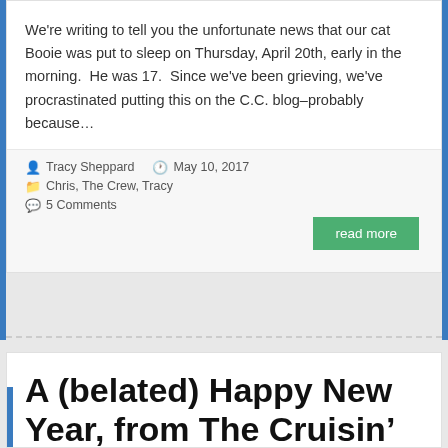We're writing to tell you the unfortunate news that our cat Booie was put to sleep on Thursday, April 20th, early in the morning.  He was 17.  Since we've been grieving, we've procrastinated putting this on the C.C. blog–probably because…
Tracy Sheppard  May 10, 2017  Chris, The Crew, Tracy  5 Comments
read more
A (belated) Happy New Year, from The Cruisin' Crew! :)